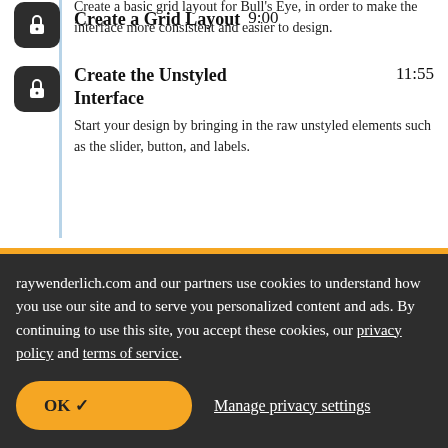Create a Grid Layout 9:00 — Create a basic grid layout for Bull's Eye, in order to make the interface more consistent and easier to design.
Create the Unstyled Interface 11:55 — Start your design by bringing in the raw unstyled elements such as the slider, button, and labels.
raywenderlich.com and our partners use cookies to understand how you use our site and to serve you personalized content and ads. By continuing to use this site, you accept these cookies, our privacy policy and terms of service.